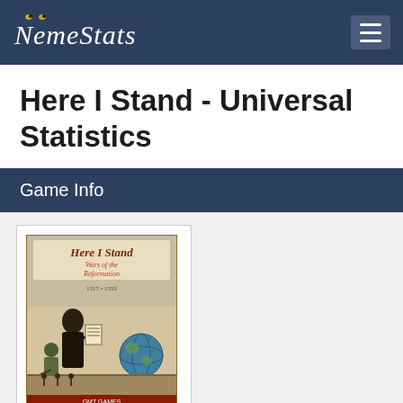NemeStats
Here I Stand - Universal Statistics
Game Info
[Figure (illustration): Game cover art for 'Here I Stand: Wars of the Reformation 1517-1555' showing a monk figure posting documents, a soldier, a globe, and battle scenes with decorative script typography]